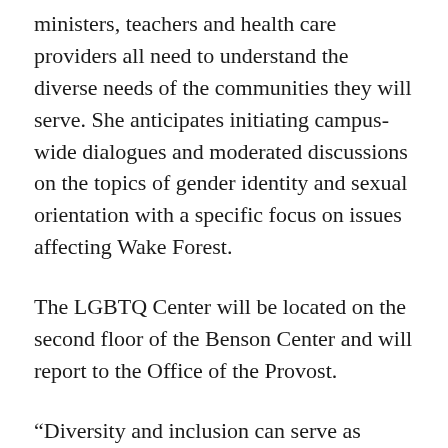ministers, teachers and health care providers all need to understand the diverse needs of the communities they will serve. She anticipates initiating campus-wide dialogues and moderated discussions on the topics of gender identity and sexual orientation with a specific focus on issues affecting Wake Forest.
The LGBTQ Center will be located on the second floor of the Benson Center and will report to the Office of the Provost.
“Diversity and inclusion can serve as catalysts for academic excellence and both are central to the mission of the University,” said Barbee Oakes, Assistant Provost for Diversity and Inclusion